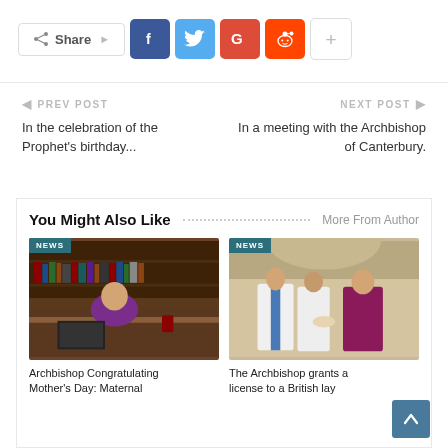[Figure (infographic): Social share bar with Share button, Facebook (blue), Twitter (light blue), Google+ (red), Reddit (orange), and more (+) button]
← PREV POST
In the celebration of the Prophet's birthday...
NEXT POST →
In a meeting with the Archbishop of Canterbury.
You Might Also Like
More From Author
[Figure (photo): Archbishop sitting at a desk in front of bookshelves, wearing purple robes. NEWS tag overlay.]
Archbishop Congratulating Mother's Day: Maternal
[Figure (photo): Two clergy in white and blue robes with an Archbishop in purple robes in a formal setting. NEWS tag overlay.]
The Archbishop grants a license to a British lay